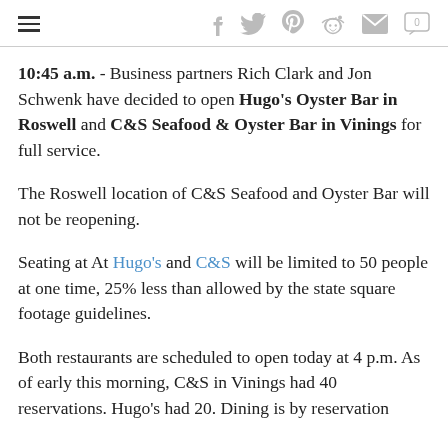≡  f  🐦  p  reddit  ✉  💬 0
10:45 a.m. - Business partners Rich Clark and Jon Schwenk have decided to open Hugo's Oyster Bar in Roswell and C&S Seafood & Oyster Bar in Vinings for full service.
The Roswell location of C&S Seafood and Oyster Bar will not be reopening.
Seating at At Hugo's and C&S will be limited to 50 people at one time, 25% less than allowed by the state square footage guidelines.
Both restaurants are scheduled to open today at 4 p.m. As of early this morning, C&S in Vinings had 40 reservations. Hugo's had 20. Dining is by reservation only.